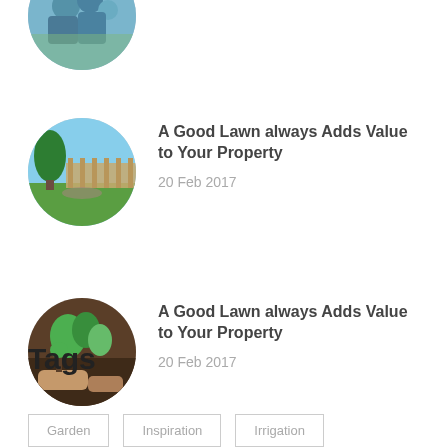[Figure (photo): Partial circular cropped image at top of page showing people gardening, partially cut off]
[Figure (photo): Circular cropped photo of a green lawn with wooden fence and garden beds]
A Good Lawn always Adds Value to Your Property
20 Feb 2017
[Figure (photo): Circular cropped photo of hands planting seedlings in soil]
A Good Lawn always Adds Value to Your Property
20 Feb 2017
Tags
Garden
Inspiration
Irrigation